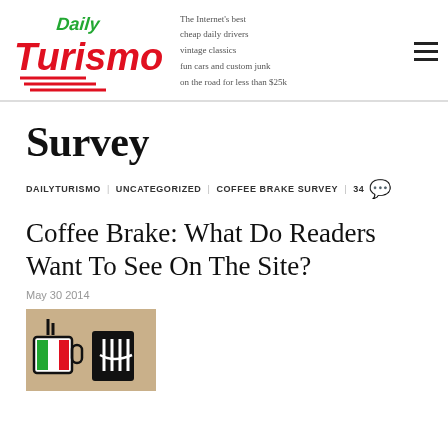[Figure (logo): Daily Turismo logo with red and green text on white background]
The Internet's best
cheap daily drivers
vintage classics
fun cars and custom junk
on the road for less than $25k
Survey
DAILYTURISMO | UNCATEGORIZED | COFFEE BRAKE SURVEY | 34
Coffee Brake: What Do Readers Want To See On The Site?
May 30 2014
[Figure (illustration): Coffee cup illustration with Italian flag design, cartoon style on tan/beige background]